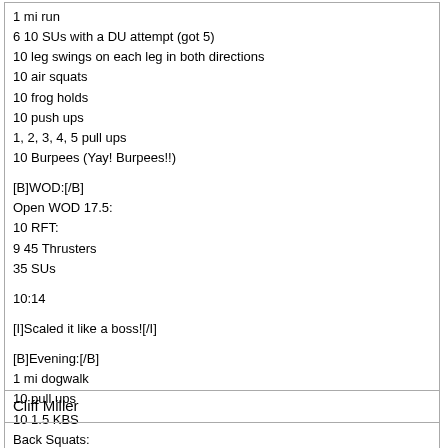1 mi run
6 10 SUs with a DU attempt (got 5)
10 leg swings on each leg in both directions
10 air squats
10 frog holds
10 push ups
1, 2, 3, 4, 5 pull ups
10 Burpees (Yay! Burpees!!)
[B]WOD:[/B]
Open WOD 17.5:
10 RFT:
9 45 Thrusters
35 SUs
10:14
[I]Scaled it like a boss![/I]
[B]Evening:[/B]
1 mi dogwalk
10 pull ups
10 1.5 KBS
Back Squats:
5 @ 205#
5 @ 235#
23 @ 265#
Cliff Miller